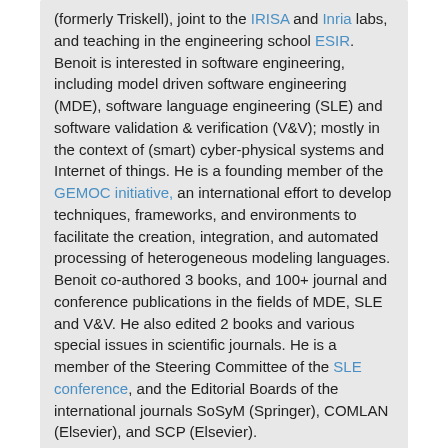(formerly Triskell), joint to the IRISA and Inria labs, and teaching in the engineering school ESIR. Benoit is interested in software engineering, including model driven software engineering (MDE), software language engineering (SLE) and software validation & verification (V&V); mostly in the context of (smart) cyber-physical systems and Internet of things. He is a founding member of the GEMOC initiative, an international effort to develop techniques, frameworks, and environments to facilitate the creation, integration, and automated processing of heterogeneous modeling languages. Benoit co-authored 3 books, and 100+ journal and conference publications in the fields of MDE, SLE and V&V. He also edited 2 books and various special issues in scientific journals. He is a member of the Steering Committee of the SLE conference, and the Editorial Boards of the international journals SoSyM (Springer), COMLAN (Elsevier), and SCP (Elsevier).
Proceedings